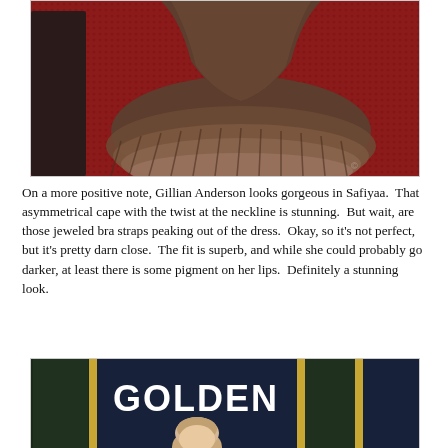[Figure (photo): Photo of a person in a layered brown/taupe tulle or ruffled cape/dress on a red carpet background. The dress fans out dramatically at the bottom.]
On a more positive note, Gillian Anderson looks gorgeous in Safiyaa. That asymmetrical cape with the twist at the neckline is stunning. But wait, are those jeweled bra straps peaking out of the dress. Okay, so it's not perfect, but it's pretty darn close. The fit is superb, and while she could probably go darker, at least there is some pigment on her lips. Definitely a stunning look.
[Figure (photo): Photo at the Golden Globes event backdrop showing a person in front of a Golden Globes signage/banner. The text 'GOLDEN' is visible in large white letters on a dark background.]